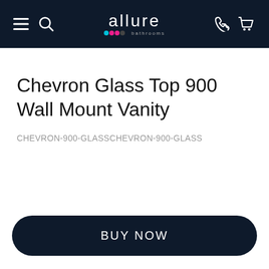allure bathrooms — navigation bar with menu, search, phone, cart icons
Chevron Glass Top 900 Wall Mount Vanity
CHEVRON-900-GLASSCHEVRON-900-GLASS
BUY NOW